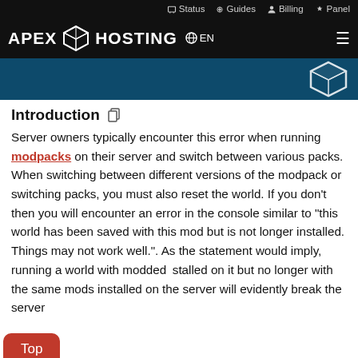Status   Guides   Billing   Panel
[Figure (logo): Apex Hosting logo with globe icon and EN language selector and hamburger menu]
[Figure (illustration): Dark blue hero banner with Apex Hosting cube icon on the right]
Introduction
Server owners typically encounter this error when running modpacks on their server and switch between various packs. When switching between different versions of the modpack or switching packs, you must also reset the world. If you don't then you will encounter an error in the console similar to "this world has been saved with this mod but is not longer installed. Things may not work well.". As the statement would imply, running a world with modded stalled on it but no longer with the same mods installed on the server will evidently break the server